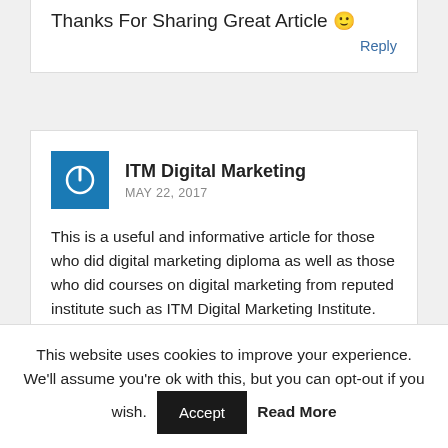Thanks For Sharing Great Article 🙂
Reply
ITM Digital Marketing
MAY 22, 2017
This is a useful and informative article for those who did digital marketing diploma as well as those who did courses on digital marketing from reputed institute such as ITM Digital Marketing Institute. This article will help students understand the career opportunities and job prospects of the digital marketing.
Reply
This website uses cookies to improve your experience. We'll assume you're ok with this, but you can opt-out if you wish. Accept Read More